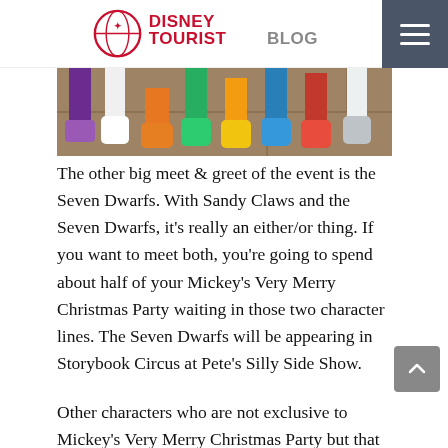DisneyTouristBlog
[Figure (photo): Partial photo showing colorful shoes/feet of the Seven Dwarfs characters at a Disney park meet and greet event, visible from ankles down against a stone floor background.]
The other big meet & greet of the event is the Seven Dwarfs. With Sandy Claws and the Seven Dwarfs, it’s really an either/or thing. If you want to meet both, you’re going to spend about half of your Mickey’s Very Merry Christmas Party waiting in those two character lines. The Seven Dwarfs will be appearing in Storybook Circus at Pete’s Silly Side Show.
Other characters who are not exclusive to Mickey’s Very Merry Christmas Party but that can be found wearing their holiday finery meet outside in Storybook Circus. We typically do one or two of these meet & greets per party (lining up around 6:30 p.m. before the party officially starts or waiting until after 11 p.m.), skipping Sandy Claws and the Seven Dwarfs for the other character lines.